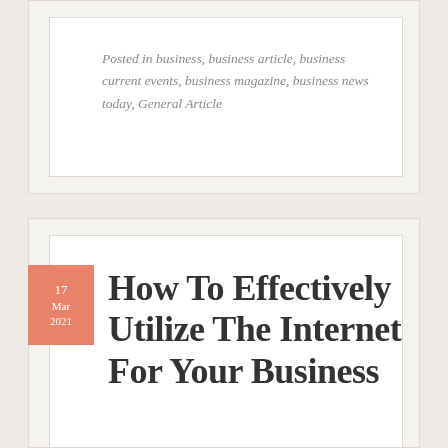Posted in business, business article, business current events, business magazine, business news today, General Article
How To Effectively Utilize The Internet For Your Business